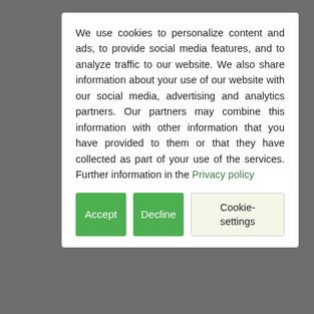We use cookies to personalize content and ads, to provide social media features, and to analyze traffic to our website. We also share information about your use of our website with our social media, advertising and analytics partners. Our partners may combine this information with other information that you have provided to them or that they have collected as part of your use of the services. Further information in the Privacy policy
Accept
Decline
Cookie-settings